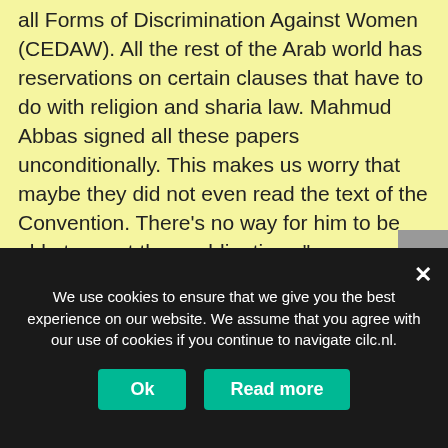all Forms of Discrimination Against Women (CEDAW). All the rest of the Arab world has reservations on certain clauses that have to do with religion and sharia law. Mahmud Abbas signed all these papers unconditionally. This makes us worry that maybe they did not even read the text of the Convention. There’s no way for him to be able to meet these obligations.”
She adds: “If Fatah and Hamas are negotiating for reconciliation, then our requests are going to be put on the back seat, because the government does not want to upset Hamas,
We use cookies to ensure that we give you the best experience on our website. We assume that you agree with our use of cookies if you continue to navigate cilc.nl.